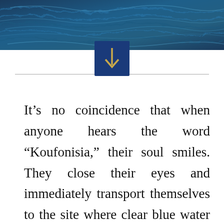[Figure (photo): Ocean water surface photo in deep blue tones at the top of the page]
[Figure (illustration): Blue square icon with a gold downward arrow, centered on the page divider line]
It’s no coincidence that when anyone hears the word “Koufonisia,” their soul smiles. They close their eyes and immediately transport themselves to the site where clear blue water reflects their dream…to the endless beaches, to the vibrations of the island and the hidden caves